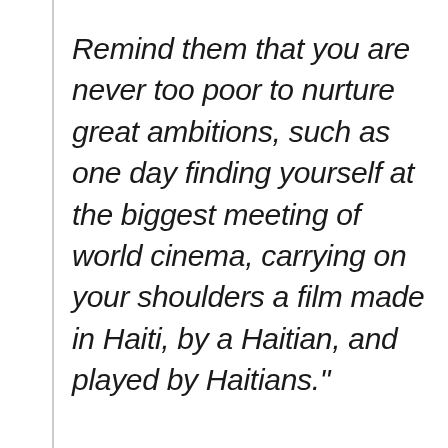Remind them that you are never too poor to nurture great ambitions, such as one day finding yourself at the biggest meeting of world cinema, carrying on your shoulders a film made in Haiti, by a Haitian, and played by Haitians."